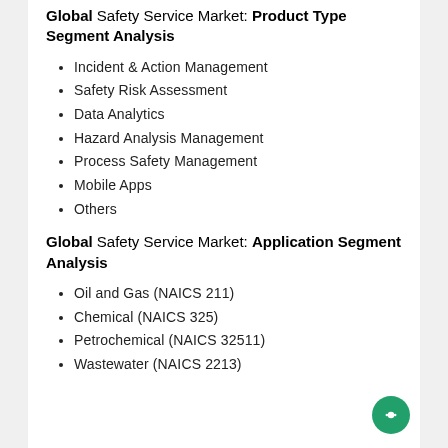Global Safety Service Market: Product Type Segment Analysis
Incident & Action Management
Safety Risk Assessment
Data Analytics
Hazard Analysis Management
Process Safety Management
Mobile Apps
Others
Global Safety Service Market: Application Segment Analysis
Oil and Gas (NAICS 211)
Chemical (NAICS 325)
Petrochemical (NAICS 32511)
Wastewater (NAICS 2213)